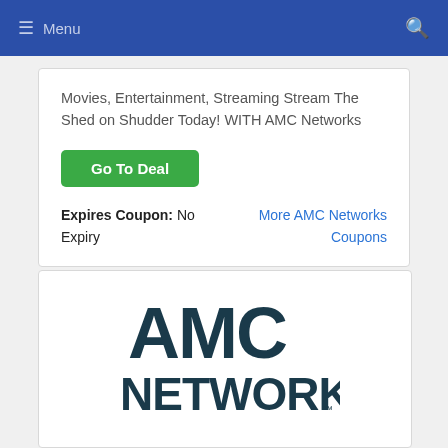≡ Menu
Movies, Entertainment, Streaming Stream The Shed on Shudder Today! WITH AMC Networks
Go To Deal
Expires Coupon: No Expiry
More AMC Networks Coupons
[Figure (logo): AMC Networks logo in dark teal/navy color]